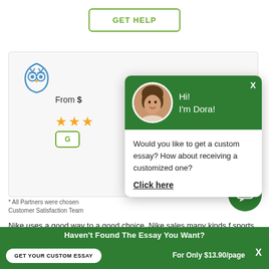GET HELP
[Figure (screenshot): Writing service card with owl logo, 'From $' price, star rating, and a partial button]
* All Partners were chosen … Customer Satisfaction Team
Nike uses a good way to… a good choice. Nike sales many kinds f sports … For the comparison between Nike and other luxury…
[Figure (screenshot): Chat popup with green header showing avatar of woman named Dora, greeting 'Hi! I'm Dora!', text 'Would you like to get a custom essay? How about receiving a customized one?' and 'Click here' link]
[Figure (screenshot): Green circular chat icon button]
Haven't Found The Essay You Want?
GET YOUR CUSTOM ESSAY
For Only $13.90/page